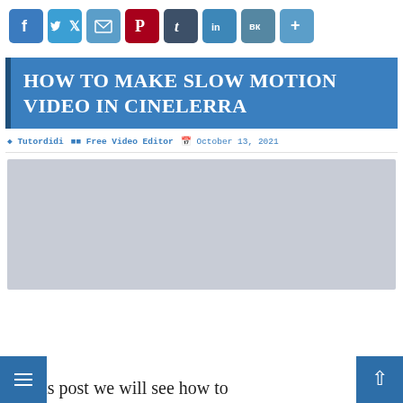[Figure (infographic): Social media share buttons row: Facebook (blue), Twitter (blue), Email (blue), Pinterest (red), Tumblr (dark slate), LinkedIn (blue), VK (slate blue), More/Plus (blue)]
HOW TO MAKE SLOW MOTION VIDEO IN CINELERRA
Tutordidi  Free Video Editor  October 13, 2021
[Figure (photo): Grey placeholder image rectangle]
In this post we will see how to